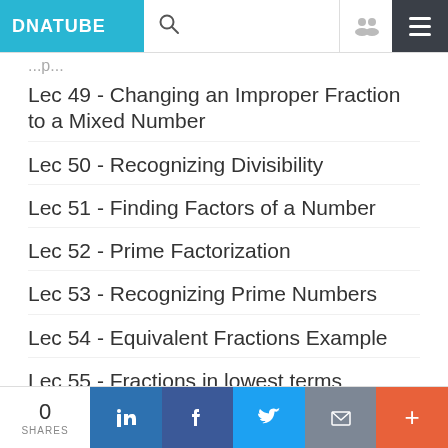DNATUBE
Lec 49 - Changing an Improper Fraction to a Mixed Number
Lec 50 - Recognizing Divisibility
Lec 51 - Finding Factors of a Number
Lec 52 - Prime Factorization
Lec 53 - Recognizing Prime Numbers
Lec 54 - Equivalent Fractions Example
Lec 55 - Fractions in lowest terms
0 SHARES